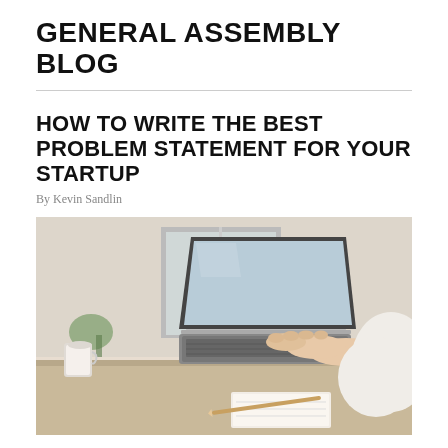GENERAL ASSEMBLY BLOG
HOW TO WRITE THE BEST PROBLEM STATEMENT FOR YOUR STARTUP
By Kevin Sandlin
[Figure (photo): A person in a white shirt typing on a laptop at a desk, with a notebook and pencil nearby and a coffee cup to the left. Bright window light in background.]